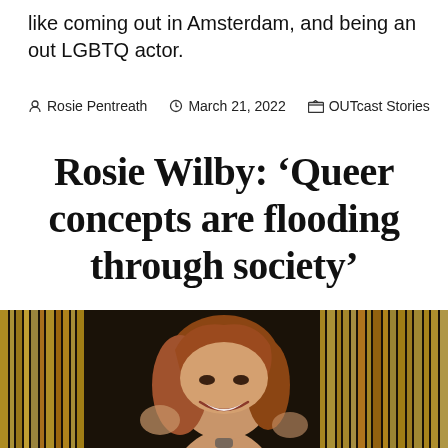like coming out in Amsterdam, and being an out LGBTQ actor.
Rosie Pentreath  March 21, 2022  OUTcast Stories
Rosie Wilby: ‘Queer concepts are flooding through society’
[Figure (photo): A woman with auburn hair smiling and holding a microphone, standing in front of gold tinsel curtain backdrop.]